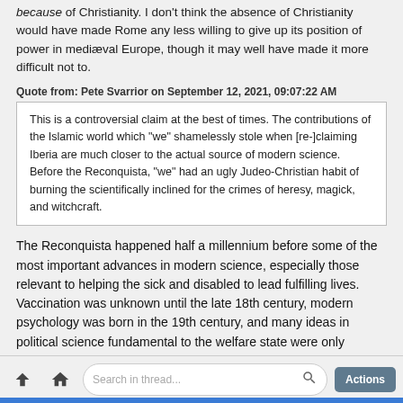because of Christianity. I don't think the absence of Christianity would have made Rome any less willing to give up its position of power in mediæval Europe, though it may well have made it more difficult not to.
Quote from: Pete Svarrior on September 12, 2021, 09:07:22 AM
This is a controversial claim at the best of times. The contributions of the Islamic world which "we" shamelessly stole when [re-]claiming Iberia are much closer to the actual source of modern science. Before the Reconquista, "we" had an ugly Judeo-Christian habit of burning the scientifically inclined for the crimes of heresy, magick, and witchcraft.
The Reconquista happened half a millennium before some of the most important advances in modern science, especially those relevant to helping the sick and disabled to lead fulfilling lives. Vaccination was unknown until the late 18th century, modern psychology was born in the 19th century, and many ideas in political science fundamental to the welfare state were only realised in the 20th century.
At best, you are saying that Christians didn't put a stop to the